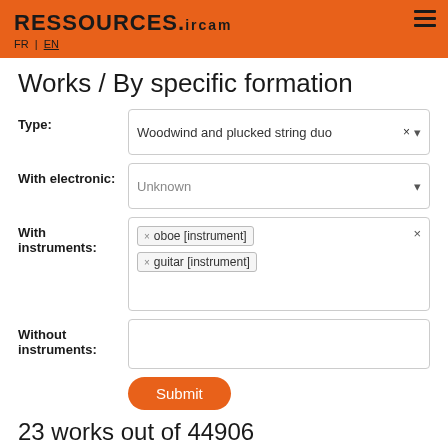RESSOURCES.iRCAM FR | EN
Works / By specific formation
Type: Woodwind and plucked string duo
With electronic: Unknown
With instruments: × oboe [instrument]  × guitar [instrument]
Without instruments:
Submit
23 works out of 44906